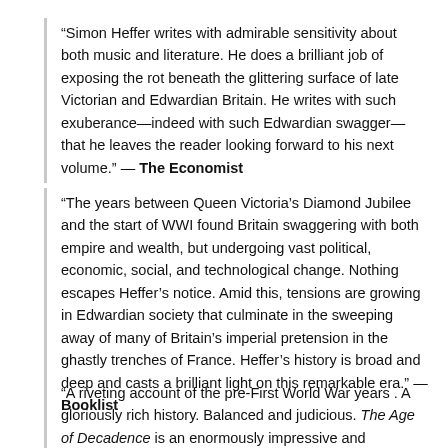“Simon Heffer writes with admirable sensitivity about both music and literature. He does a brilliant job of exposing the rot beneath the glittering surface of late Victorian and Edwardian Britain. He writes with such exuberance—indeed with such Edwardian swagger—that he leaves the reader looking forward to his next volume.” — The Economist
“The years between Queen Victoria’s Diamond Jubilee and the start of WWI found Britain swaggering with both empire and wealth, but undergoing vast political, economic, social, and technological change. Nothing escapes Heffer’s notice. Amid this, tensions are growing in Edwardian society that culminate in the sweeping away of many of Britain’s imperial pretension in the ghastly trenches of France. Heffer’s history is broad and deep and casts a brilliant light on this remarkable era.” — Booklist
“A riveting account of the pre-First World War years . A gloriously rich history. Balanced and judicious. The Age of Decadence is an enormously impressive and enjoyable